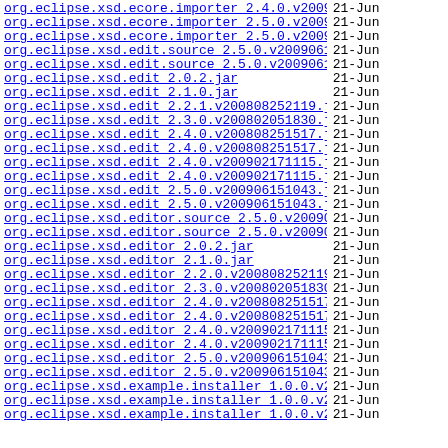org.eclipse.xsd.ecore.importer 2.4.0.v200902171..> 21-Jun
org.eclipse.xsd.ecore.importer 2.5.0.v200906151..> 21-Jun
org.eclipse.xsd.ecore.importer 2.5.0.v200906151..> 21-Jun
org.eclipse.xsd.edit.source 2.5.0.v2009061510043..> 21-Jun
org.eclipse.xsd.edit.source 2.5.0.v2009061510043..> 21-Jun
org.eclipse.xsd.edit 2.0.2.jar 21-Jun
org.eclipse.xsd.edit 2.1.0.jar 21-Jun
org.eclipse.xsd.edit 2.2.1.v200808252119.jar 21-Jun
org.eclipse.xsd.edit 2.3.0.v200802051830.jar 21-Jun
org.eclipse.xsd.edit 2.4.0.v200808251517.jar 21-Jun
org.eclipse.xsd.edit 2.4.0.v200808251517.jar.pa..> 21-Jun
org.eclipse.xsd.edit 2.4.0.v200902171115.jar 21-Jun
org.eclipse.xsd.edit 2.4.0.v200902171115.jar.pa..> 21-Jun
org.eclipse.xsd.edit 2.5.0.v200906151043.jar 21-Jun
org.eclipse.xsd.edit 2.5.0.v200906151043.jar.pa..> 21-Jun
org.eclipse.xsd.editor.source 2.5.0.v2009061510..> 21-Jun
org.eclipse.xsd.editor.source 2.5.0.v2009061510..> 21-Jun
org.eclipse.xsd.editor 2.0.2.jar 21-Jun
org.eclipse.xsd.editor 2.1.0.jar 21-Jun
org.eclipse.xsd.editor 2.2.0.v200808252119.jar 21-Jun
org.eclipse.xsd.editor 2.3.0.v200802051830.jar 21-Jun
org.eclipse.xsd.editor 2.4.0.v200808251517.jar 21-Jun
org.eclipse.xsd.editor 2.4.0.v200808251517.jar...> 21-Jun
org.eclipse.xsd.editor 2.4.0.v200902171115.jar 21-Jun
org.eclipse.xsd.editor 2.4.0.v200902171115.jar...> 21-Jun
org.eclipse.xsd.editor 2.5.0.v200906151043.jar 21-Jun
org.eclipse.xsd.editor 2.5.0.v200906151043.jar...> 21-Jun
org.eclipse.xsd.example.installer 1.0.0.v200808..> 21-Jun
org.eclipse.xsd.example.installer 1.0.0.v200808..> 21-Jun
org.eclipse.xsd.example.installer 1.0.0.v200902..> 21-Jun